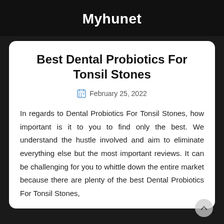Myhunet
Best Dental Probiotics For Tonsil Stones
February 25, 2022
In regards to Dental Probiotics For Tonsil Stones, how important is it to you to find only the best. We understand the hustle involved and aim to eliminate everything else but the most important reviews. It can be challenging for you to whittle down the entire market because there are plenty of the best Dental Probiotics For Tonsil Stones,